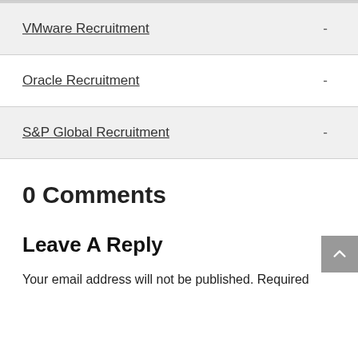VMware Recruitment  -
Oracle Recruitment  -
S&P Global Recruitment  -
0 Comments
Leave A Reply
Your email address will not be published. Required